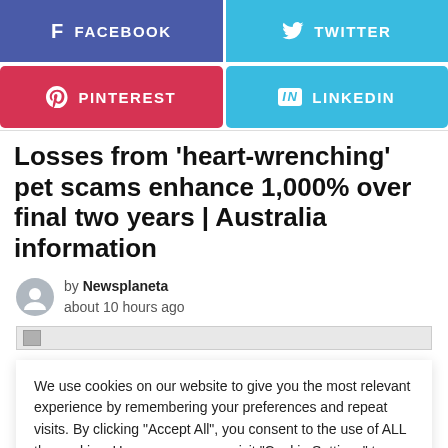[Figure (infographic): Facebook social share button (dark blue/purple) with f icon and FACEBOOK text]
[Figure (infographic): Twitter social share button (light blue) with bird icon and TWITTER text]
[Figure (infographic): Pinterest social share button (red) with P icon and PINTEREST text]
[Figure (infographic): LinkedIn social share button (light blue) with 'in' icon and LINKEDIN text]
Losses from 'heart-wrenching' pet scams enhance 1,000% over final two years | Australia information
by Newsplaneta
about 10 hours ago
We use cookies on our website to give you the most relevant experience by remembering your preferences and repeat visits. By clicking "Accept All", you consent to the use of ALL the cookies. However, you may visit "Cookie Settings" to provide a controlled consent.